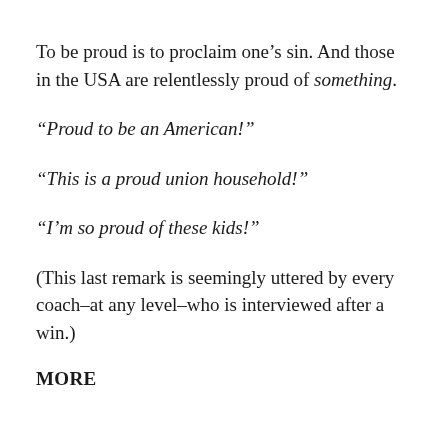To be proud is to proclaim one’s sin. And those in the USA are relentlessly proud of something.
“Proud to be an American!”
“This is a proud union household!”
“I’m so proud of these kids!”
(This last remark is seemingly uttered by every coach–at any level–who is interviewed after a win.)
MORE